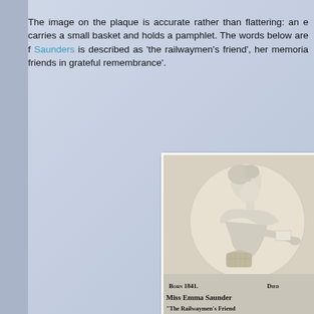The image on the plaque is accurate rather than flattering: an e… carries a small basket and holds a pamphlet. The words below are f… Saunders is described as 'the railwaymen's friend', her memoria… friends in grateful remembrance'.
[Figure (photo): Photograph of a carved stone/marble memorial plaque showing a relief portrait of a woman in profile facing right, wearing a cape and holding a small basket. Below the medallion portrait are inscriptions reading 'Born 1841.' on the left and 'Died' on the right, and below that 'Miss Emma Saunders' and '"The Railwaymen's Friend"'.]